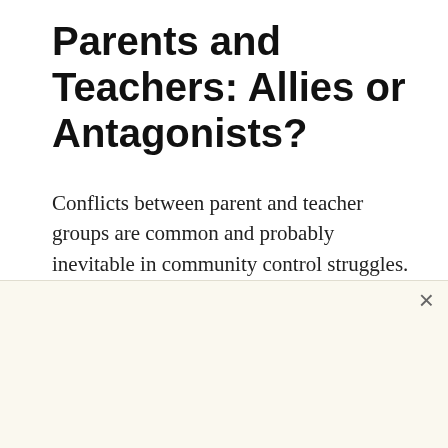Parents and Teachers: Allies or Antagonists?
Conflicts between parent and teacher groups are common and probably inevitable in community control struggles. It was Albert Shanker's intense hostility to parent power
30% off*
YOUR ENTIRE ORDER
Your best email address
GET MY 30% OFF COUPON
*30% off full-price orders. By entering your email we'll also send you related marketing emails. You can unsubscribe at anytime.